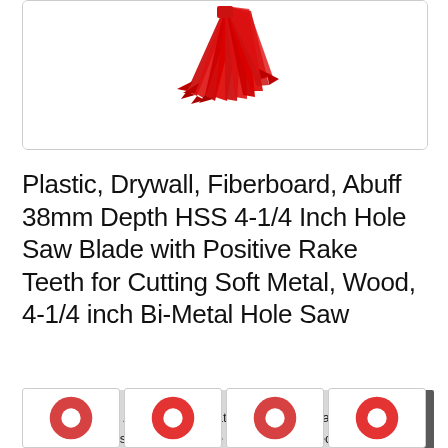[Figure (photo): Red drill bit or hole saw blades fanned out, viewed from a diagonal angle, against a white background]
Plastic, Drywall, Fiberboard, Abuff 38mm Depth HSS 4-1/4 Inch Hole Saw Blade with Positive Rake Teeth for Cutting Soft Metal, Wood, 4-1/4 inch Bi-Metal Hole Saw
#ad
As an Amazon Associate I earn from qualifying purchases. This website uses the only necessary cookies to ensure you get the best experience on our website. More information
[Figure (photo): Thumbnail images of hole saw products at the bottom of the page]